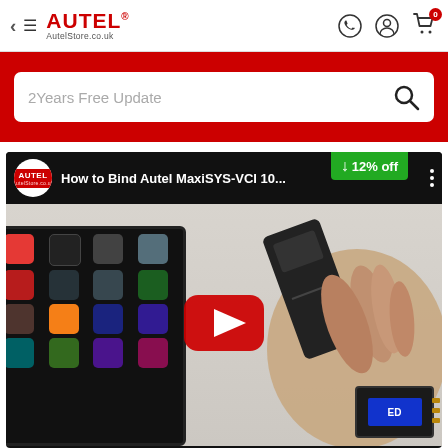[Figure (screenshot): Autel Store website navigation bar with back arrow, hamburger menu, red Autel logo (AutelStore.co.uk), WhatsApp icon, user account icon, and shopping cart icon with red badge showing 0]
[Figure (screenshot): Red search bar area with white search box containing placeholder text '2Years Free Update' and a search magnifier icon]
[Figure (screenshot): YouTube video thumbnail for 'How to Bind Autel MaxiSYS-VCI 10...' with Autel channel icon, video title, three-dot menu, a green '↓ 12% off' badge, and a red YouTube play button overlaid on a video frame showing a hand holding a VCI device near an Autel tablet]